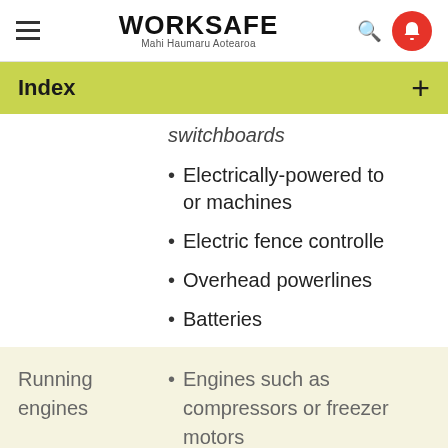WORKSAFE Mahi Haumaru Aotearoa
Index +
switchboards
Electrically-powered tools or machines
Electric fence controllers
Overhead powerlines
Batteries
Running engines – Engines such as compressors or freezer motors